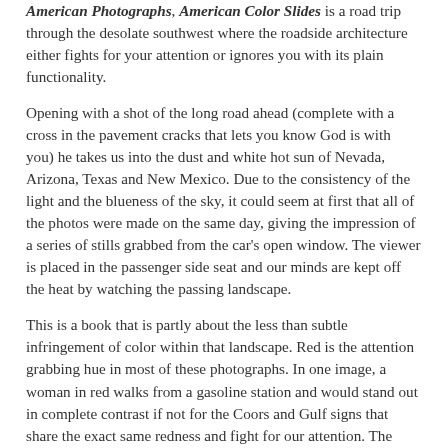American Photographs, American Color Slides is a road trip through the desolate southwest where the roadside architecture either fights for your attention or ignores you with its plain functionality.
Opening with a shot of the long road ahead (complete with a cross in the pavement cracks that lets you know God is with you) he takes us into the dust and white hot sun of Nevada, Arizona, Texas and New Mexico. Due to the consistency of the light and the blueness of the sky, it could seem at first that all of the photos were made on the same day, giving the impression of a series of stills grabbed from the car's open window. The viewer is placed in the passenger side seat and our minds are kept off the heat by watching the passing landscape.
This is a book that is partly about the less than subtle infringement of color within that landscape. Red is the attention grabbing hue in most of these photographs. In one image, a woman in red walks from a gasoline station and would stand out in complete contrast if not for the Coors and Gulf signs that share the exact same redness and fight for our attention. The signage on storefronts and roadside advertisements is also bright red as is the Chevy parked under a sliver of deep shadow.